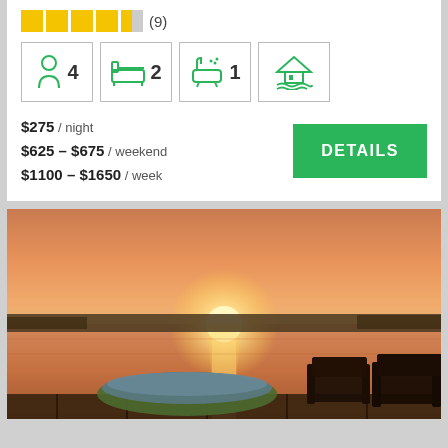★★★★½ (9)
[Figure (infographic): Four icon boxes: person icon with 4, bed icon with 2, bathtub/shower icon with 1, house-on-water icon]
$275 / night
$625 - $675 / weekend
$1100 - $1650 / week
DETAILS
[Figure (photo): Sunset over a lake with silhouettes of two Adirondack chairs and a covered boat on a dock]